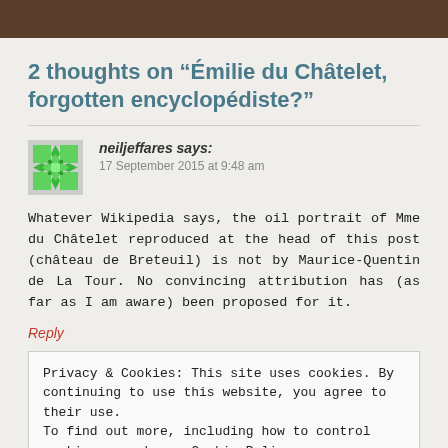2 thoughts on “Émilie du Châtelet, forgotten encyclopédiste?”
[Figure (illustration): Green geometric avatar/identicon for user neiljeffares]
neiljeffares says:
17 September 2015 at 9:48 am
Whatever Wikipedia says, the oil portrait of Mme du Châtelet reproduced at the head of this post (château de Breteuil) is not by Maurice-Quentin de La Tour. No convincing attribution has (as far as I am aware) been proposed for it.
Reply
Privacy & Cookies: This site uses cookies. By continuing to use this website, you agree to their use.
To find out more, including how to control cookies, see here: Cookie Policy
Close and accept
Reply